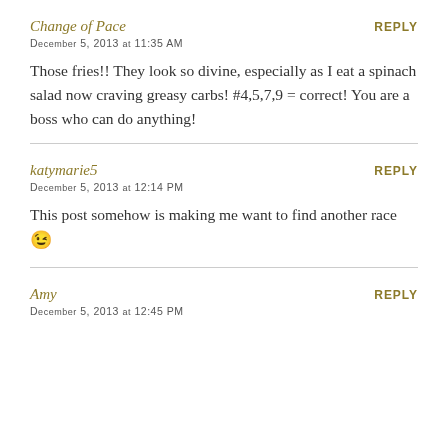Change of Pace
REPLY
December 5, 2013 at 11:35 AM
Those fries!! They look so divine, especially as I eat a spinach salad now craving greasy carbs! #4,5,7,9 = correct! You are a boss who can do anything!
katymarie5
REPLY
December 5, 2013 at 12:14 PM
This post somehow is making me want to find another race 😉
Amy
REPLY
December 5, 2013 at 12:45 PM